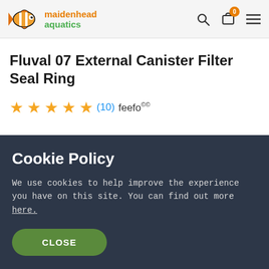maidenhead aquatics
Fluval 07 External Canister Filter Seal Ring
★★★★★ (10) feefo
Cookie Policy
We use cookies to help improve the experience you have on this site. You can find out more here.
CLOSE